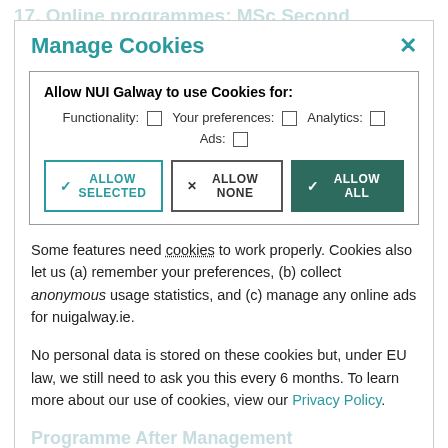Manage Cookies
Allow NUI Galway to use Cookies for: Functionality: ☐  Your preferences: ☐  Analytics: ☐  Ads: ☐
ALLOW SELECTED | ALLOW NONE | ALLOW ALL
Some features need cookies to work properly. Cookies also let us (a) remember your preferences, (b) collect anonymous usage statistics, and (c) manage any online ads for nuigalway.ie.
No personal data is stored on these cookies but, under EU law, we still need to ask you this every 6 months. To learn more about our use of cookies, view our Privacy Policy.
Programme Director    Patrick Mannion